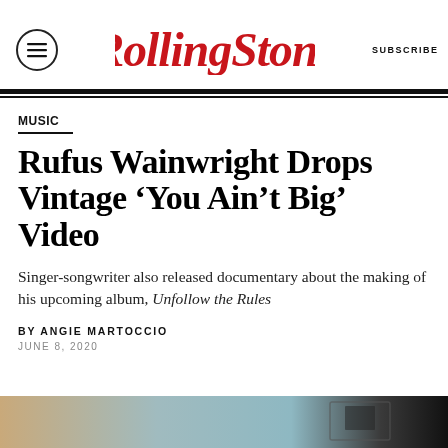Rolling Stone | SUBSCRIBE
MUSIC
Rufus Wainwright Drops Vintage ‘You Ain’t Big’ Video
Singer-songwriter also released documentary about the making of his upcoming album, Unfollow the Rules
BY ANGIE MARTOCCIO
JUNE 8, 2020
[Figure (photo): Partial photo strip at bottom of page, showing a warm-toned scene with blue/teal background]